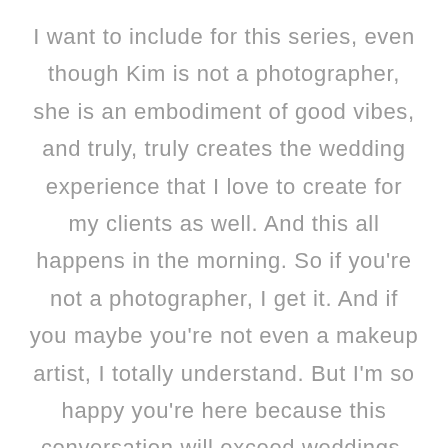I want to include for this series, even though Kim is not a photographer, she is an embodiment of good vibes, and truly, truly creates the wedding experience that I love to create for my clients as well. And this all happens in the morning. So if you're not a photographer, I get it. And if you maybe you're not even a makeup artist, I totally understand. But I'm so happy you're here because this conversation will exceed weddings, it'll go beyond weddings. It's